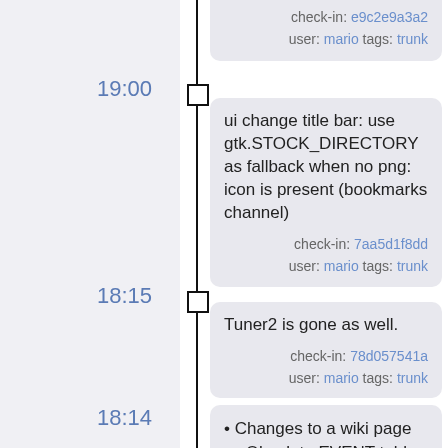[Figure (infographic): Version control timeline with vertical line, time stamps on left, commit cards on right]
check-in: e9c2e9a3a2
user: mario tags: trunk
19:00
ui change title bar: use gtk.STOCK_DIRECTORY as fallback when no png: icon is present (bookmarks channel)
check-in: 7aa5d1f8dd
user: mario tags: trunk
18:15
Tuner2 is gone as well.
check-in: 78d057541a
user: mario tags: trunk
18:14
• Changes to a wiki page
→ Obsolete EVENT table